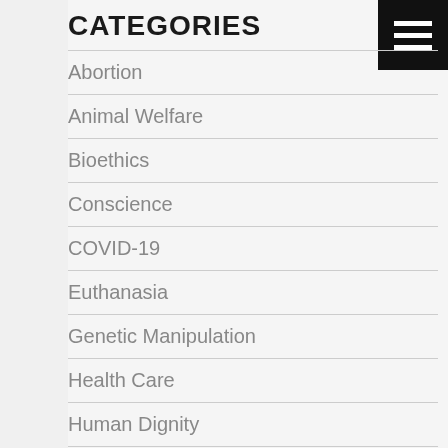CATEGORIES
Abortion
Animal Welfare
Bioethics
Conscience
COVID-19
Euthanasia
Genetic Manipulation
Health Care
Human Dignity
Human Exceptionalism